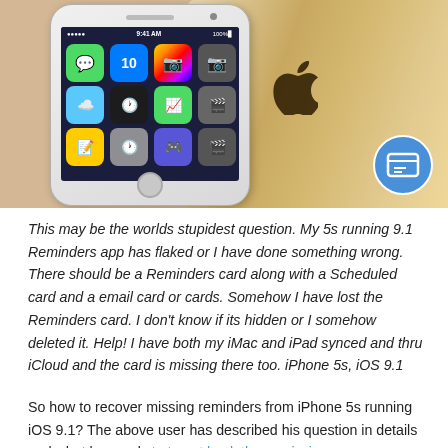[Figure (photo): iPhone 5s shown from front (displaying home screen with iOS app icons) and back (gold color with Apple logo), side by side. A blue circular badge/icon appears in the bottom right corner.]
This may be the worlds stupidest question. My 5s running 9.1 Reminders app has flaked or I have done something wrong. There should be a Reminders card along with a Scheduled card and a email card or cards. Somehow I have lost the Reminders card. I don't know if its hidden or I somehow deleted it. Help! I have both my iMac and iPad synced and thru iCloud and the card is missing there too. iPhone 5s, iOS 9.1
So how to recover missing reminders from iPhone 5s running iOS 9.1? The above user has described his question in details and what he needs to to get back those missing